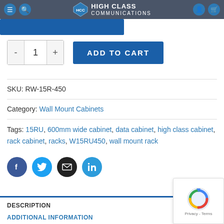High Class Communications
[Figure (screenshot): Blue button bar partially visible]
- 1 + ADD TO CART (quantity control and add to cart button)
SKU: RW-15R-450
Category: Wall Mount Cabinets
Tags: 15RU, 600mm wide cabinet, data cabinet, high class cabinet, rack cabinet, racks, W15RU450, wall mount rack
[Figure (infographic): Social share icons: Facebook, Twitter, Email, LinkedIn]
DESCRIPTION
ADDITIONAL INFORMATION